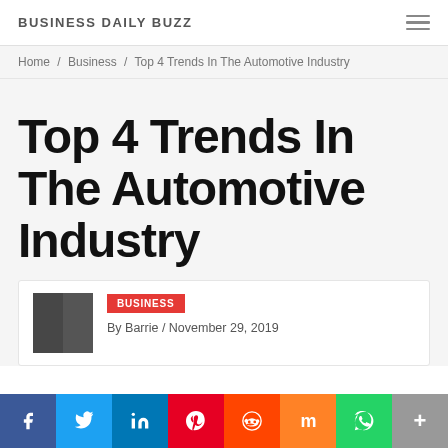BUSINESS DAILY BUZZ
Home / Business / Top 4 Trends In The Automotive Industry
Top 4 Trends In The Automotive Industry
BUSINESS
By Barrie / November 29, 2019